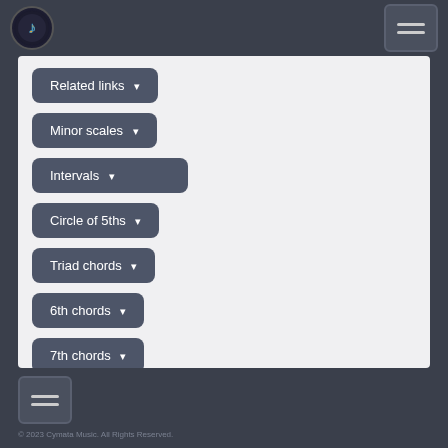[Figure (screenshot): Navigation menu for a music theory website showing a logo icon and hamburger menu button in the header]
Related links ▾
Minor scales ▾
Intervals ▾
Circle of 5ths ▾
Triad chords ▾
6th chords ▾
7th chords ▾
© 2023 Cymata Music. All Rights Reserved.